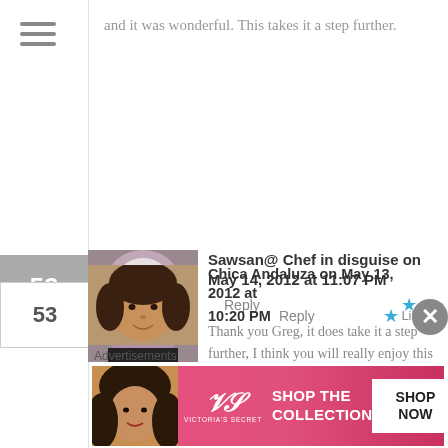and it was wonderful. This takes it a step further.
Sawsan@ Chef in disguise on May 14, 2012 at 11:07 PM
Reply
Like
Thank you Greg, it does take it a step further, I think you will really enjoy this one if you gave it a go
Chica Andaluza on May 13, 2012 at 10:20 PM   Reply   Like
Advertisements
[Figure (screenshot): Victoria's Secret advertisement banner with model, logo, 'SHOP THE COLLECTION' text and 'SHOP NOW' button]